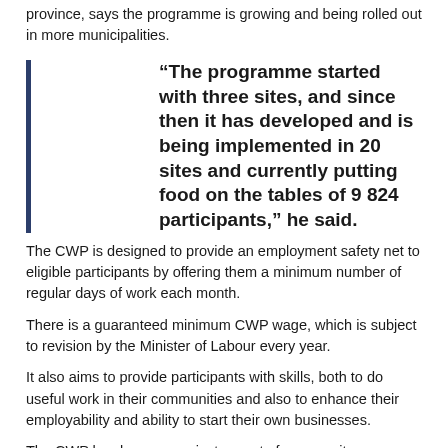province, says the programme is growing and being rolled out in more municipalities.
“The programme started with three sites, and since then it has developed and is being implemented in 20 sites and currently putting food on the tables of 9 824 participants,” he said.
The CWP is designed to provide an employment safety net to eligible participants by offering them a minimum number of regular days of work each month.
There is a guaranteed minimum CWP wage, which is subject to revision by the Minister of Labour every year.
It also aims to provide participants with skills, both to do useful work in their communities and also to enhance their employability and ability to start their own businesses.
The CWP has become an instrument of community development